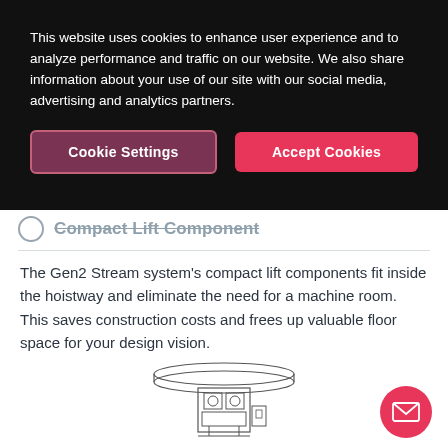This website uses cookies to enhance user experience and to analyze performance and traffic on our website. We also share information about your use of our site with our social media, advertising and analytics partners.
[Figure (screenshot): Cookie consent banner with two buttons: 'Cookie Settings' (dark pink with border) and 'Accept Cookies' (bright pink/red)]
Compact Lift Component
The Gen2 Stream system's compact lift components fit inside the hoistway and eliminate the need for a machine room. This saves construction costs and frees up valuable floor space for your design vision.
[Figure (engineering-diagram): Engineering schematic diagram of a compact lift component showing a flat platform/roof section on top with mechanical components below]